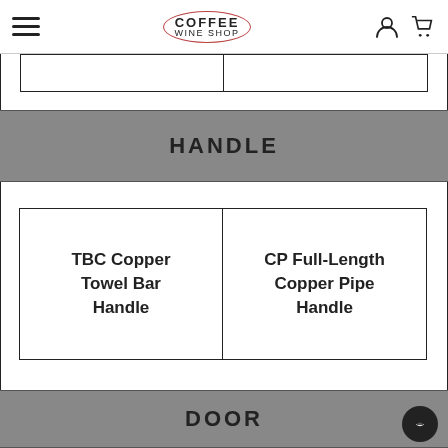Coffee Wine Shop navigation bar with hamburger menu, logo, user icon, and cart icon
HANDLE
TBC Copper Towel Bar Handle
CP Full-Length Copper Pipe Handle
DOOR